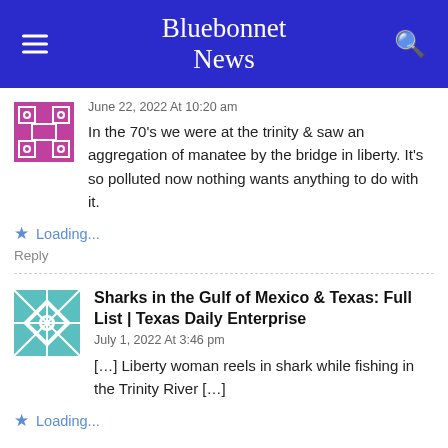Bluebonnet News
June 22, 2022 At 10:20 am
In the 70's we were at the trinity & saw an aggregation of manatee by the bridge in liberty. It's so polluted now nothing wants anything to do with it.
Loading...
Reply
Sharks in the Gulf of Mexico & Texas: Full List | Texas Daily Enterprise
July 1, 2022 At 3:46 pm
[…] Liberty woman reels in shark while fishing in the Trinity River […]
Loading...